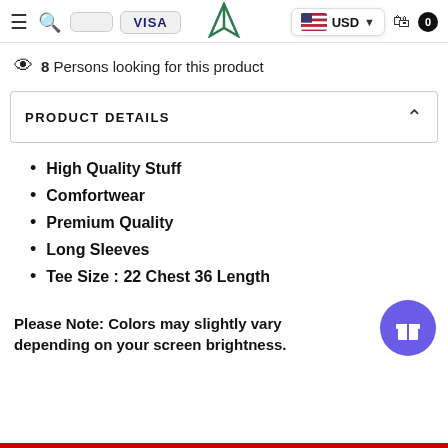Navigation bar with menu, search, logo, USD currency selector, cart icon with badge 0
8 Persons looking for this product
PRODUCT DETAILS
High Quality Stuff
Comfortwear
Premium Quality
Long Sleeves
Tee Size : 22 Chest 36 Length
Please Note: Colors may slightly vary depending on your screen brightness.